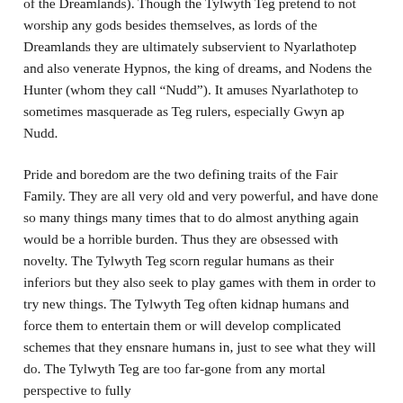of the Dreamlands). Though the Tylwyth Teg pretend to not worship any gods besides themselves, as lords of the Dreamlands they are ultimately subservient to Nyarlathotep and also venerate Hypnos, the king of dreams, and Nodens the Hunter (whom they call “Nudd”). It amuses Nyarlathotep to sometimes masquerade as Teg rulers, especially Gwyn ap Nudd.
Pride and boredom are the two defining traits of the Fair Family. They are all very old and very powerful, and have done so many things many times that to do almost anything again would be a horrible burden. Thus they are obsessed with novelty. The Tylwyth Teg scorn regular humans as their inferiors but they also seek to play games with them in order to try new things. The Tylwyth Teg often kidnap humans and force them to entertain them or will develop complicated schemes that they ensnare humans in, just to see what they will do. The Tylwyth Teg are too far-gone from any mortal perspective to fully